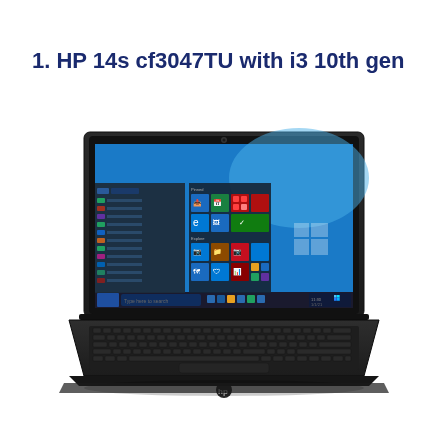1. HP 14s cf3047TU with i3 10th gen
[Figure (photo): HP 14s cf3047TU laptop with i3 10th gen processor shown open, displaying Windows 10 Start menu on screen. The laptop has a black body with a chiclet keyboard and trackpad visible.]